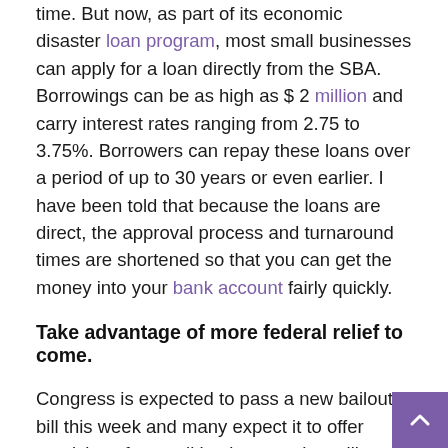time. But now, as part of its economic disaster loan program, most small businesses can apply for a loan directly from the SBA. Borrowings can be as high as $ 2 million and carry interest rates ranging from 2.75 to 3.75%. Borrowers can repay these loans over a period of up to 30 years or even earlier. I have been told that because the loans are direct, the approval process and turnaround times are shortened so that you can get the money into your bank account fairly quickly.
Take advantage of more federal relief to come.
Congress is expected to pass a new bailout bill this week and many expect it to offer provisions for small businesses that will include relief for localities, lower payroll taxes and direct payments to individuals. What's more new invoice is rapidly gaining momentum which will allow small businesses to receive grants (not loans, so no repayment required) from the Small Business Administration which will help them cover their salary costs until June 30. Every small business owner should keep a close eye on upcoming legislation and be prepared to take